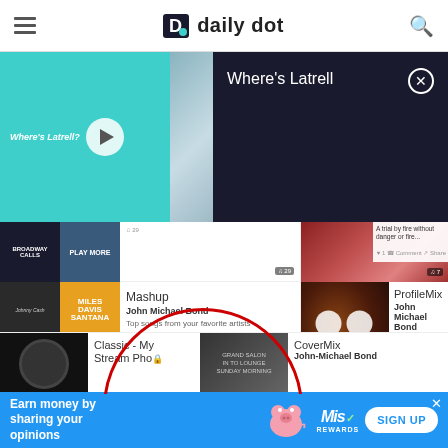daily dot
[Figure (screenshot): Screenshot of a music streaming app (Spotify-like) showing playlists including 'Where's Latrell', 'Mashup' by John Michael Bond, 'ProfileMix' by John Michael Bond, and 'CoverMix' by John-Michael Bond. A red circle highlights the ProfileMix entry. A dark overlay panel shows 'Where's Latrell' with a close button.]
[Figure (infographic): Advertisement banner: 'Earn money by sharing your opinions' with a pig graphic, MisRewards logo, and SIGN UP button]